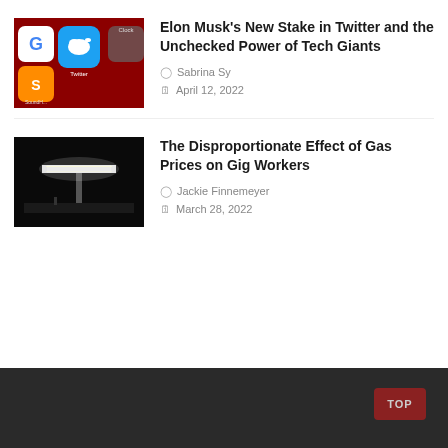[Figure (photo): Smartphone screen showing app icons including Twitter (blue bird icon on teal background), Google, and SoundHound on a red background]
Elon Musk’s New Stake in Twitter and the Unchecked Power of Tech Giants
Sabrina Sy
April 12, 2022
[Figure (photo): Nighttime photo of a gas station with bright white canopy lights against a dark black sky]
The Disproportionate Effect of Gas Prices on Gig Workers
Jackie Finnemeyer
March 28, 2022